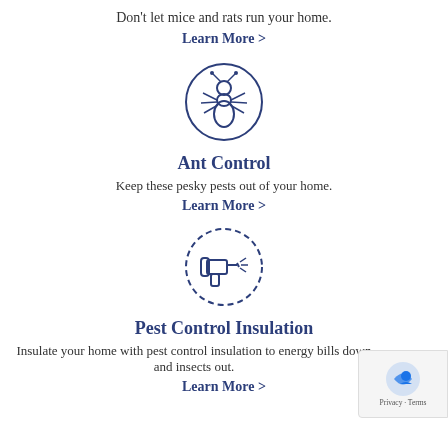Don't let mice and rats run your home.
Learn More >
[Figure (illustration): Ant icon inside a circle, drawn in dark blue outline style]
Ant Control
Keep these pesky pests out of your home.
Learn More >
[Figure (illustration): Pest spray gun icon inside a dashed circle, drawn in dark blue outline style]
Pest Control Insulation
Insulate your home with pest control insulation to energy bills down and insects out.
Learn More >